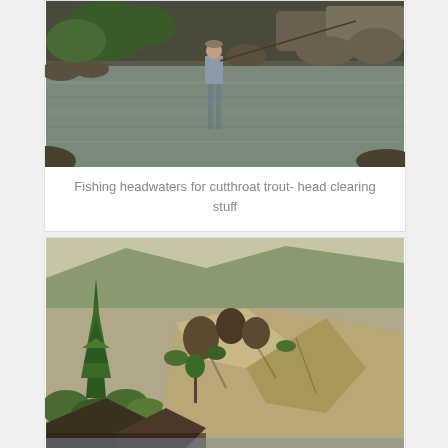[Figure (photo): A person fishing while wading in a shallow, clear river surrounded by rocks and green trees]
Fishing headwaters for cutthroat trout- head clearing stuff
[Figure (photo): Rocky hillside terrain with sparse green trees and exposed earth and rock formations]